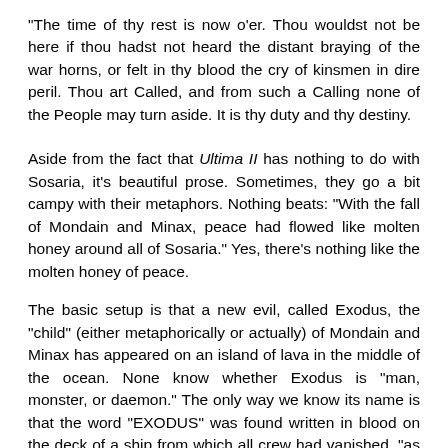"The time of thy rest is now o'er. Thou wouldst not be here if thou hadst not heard the distant braying of the war horns, or felt in thy blood the cry of kinsmen in dire peril. Thou art Called, and from such a Calling none of the People may turn aside. It is thy duty and thy destiny.
Aside from the fact that Ultima II has nothing to do with Sosaria, it's beautiful prose. Sometimes, they go a bit campy with their metaphors. Nothing beats: "With the fall of Mondain and Minax, peace had flowed like molten honey around all of Sosaria." Yes, there's nothing like the molten honey of peace.
The basic setup is that a new evil, called Exodus, the "child" (either metaphorically or actually) of Mondain and Minax has appeared on an island of lava in the middle of the ocean. None know whether Exodus is "man, monster, or daemon." The only way we know its name is that the word "EXODUS" was found written in blood on the deck of a ship from which all crew had vanished, "as if plucked by some evil force."